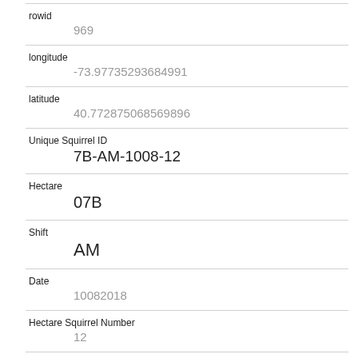| Field | Value |
| --- | --- |
| rowid | 969 |
| longitude | -73.97735293684991 |
| latitude | 40.772875068569896 |
| Unique Squirrel ID | 7B-AM-1008-12 |
| Hectare | 07B |
| Shift | AM |
| Date | 10082018 |
| Hectare Squirrel Number | 12 |
| Age | Adult |
| Primary Fur Color | Gray |